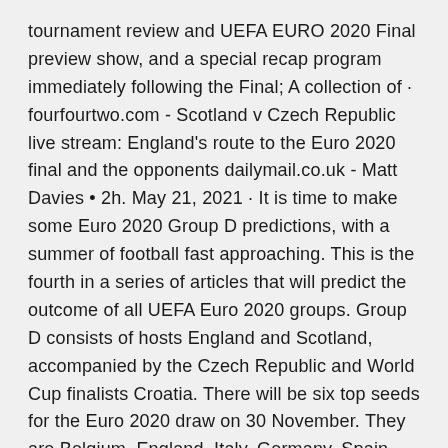tournament review and UEFA EURO 2020 Final preview show, and a special recap program immediately following the Final; A collection of · fourfourtwo.com - Scotland v Czech Republic live stream: England's route to the Euro 2020 final and the opponents dailymail.co.uk - Matt Davies • 2h. May 21, 2021 · It is time to make some Euro 2020 Group D predictions, with a summer of football fast approaching. This is the fourth in a series of articles that will predict the outcome of all UEFA Euro 2020 groups. Group D consists of hosts England and Scotland, accompanied by the Czech Republic and World Cup finalists Croatia. There will be six top seeds for the Euro 2020 draw on 30 November. They are Belgium, England, Italy, Germany, Spain and Ukraine.